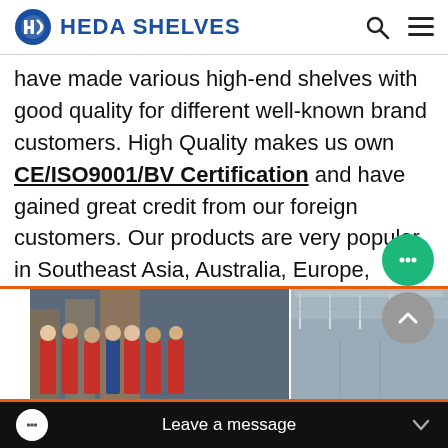HEDA SHELVES
have made various high-end shelves with good quality for different well-known brand customers. High Quality makes us own CE/ISO9001/BV Certification and have gained great credit from our foreign customers. Our products are very popular in Southeast Asia, Australia, Europe, America and Canada.
Welcome to our showroom anytime in Pazhou, Guangzhou.
[Figure (photo): Bottom strip showing two photos: left photo of team in red uniforms in front of shelving warehouse, right photo of warehouse interior with lighting. Vertical text on far left reads HEDA SHELVES. Orange border above and below.]
Leave a message